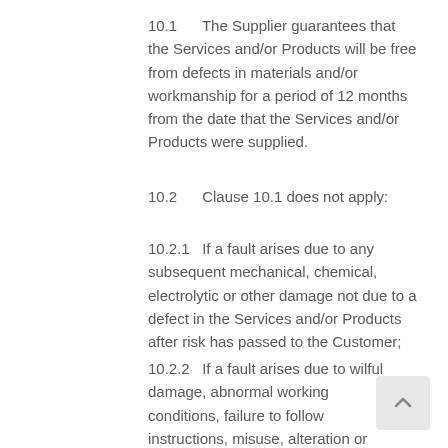10.1    The Supplier guarantees that the Services and/or Products will be free from defects in materials and/or workmanship for a period of 12 months from the date that the Services and/or Products were supplied.
10.2    Clause 10.1 does not apply:
10.2.1  If a fault arises due to any subsequent mechanical, chemical, electrolytic or other damage not due to a defect in the Services and/or Products after risk has passed to the Customer;
10.2.2  If a fault arises due to wilful damage, abnormal working conditions, failure to follow instructions, misuse, alteration or unauthorised repair, improper maintenance or negligence on